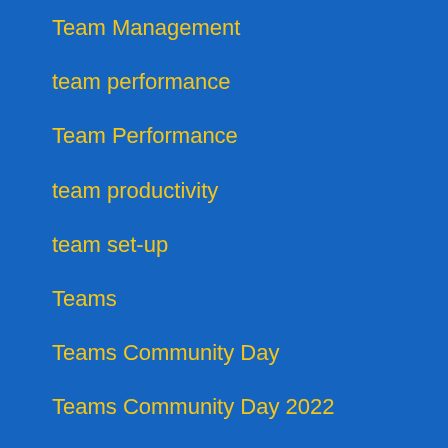Team Management
team performance
Team Performance
team productivity
team set-up
Teams
Teams Community Day
Teams Community Day 2022
Teams Community Day Berlin
Teams Community Day Bielefeld